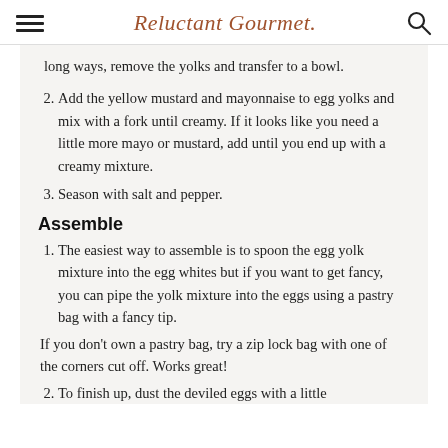Reluctant Gourmet
long ways, remove the yolks and transfer to a bowl.
Add the yellow mustard and mayonnaise to egg yolks and mix with a fork until creamy. If it looks like you need a little more mayo or mustard, add until you end up with a creamy mixture.
Season with salt and pepper.
Assemble
The easiest way to assemble is to spoon the egg yolk mixture into the egg whites but if you want to get fancy, you can pipe the yolk mixture into the eggs using a pastry bag with a fancy tip.
If you don't own a pastry bag, try a zip lock bag with one of the corners cut off. Works great!
To finish up, dust the deviled eggs with a little